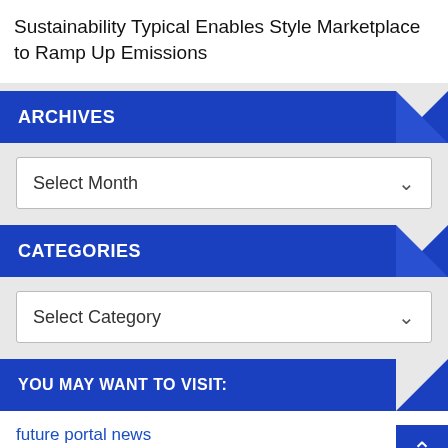Sustainability Typical Enables Style Marketplace to Ramp Up Emissions
ARCHIVES
Select Month
CATEGORIES
Select Category
YOU MAY WANT TO VISIT:
future portal news